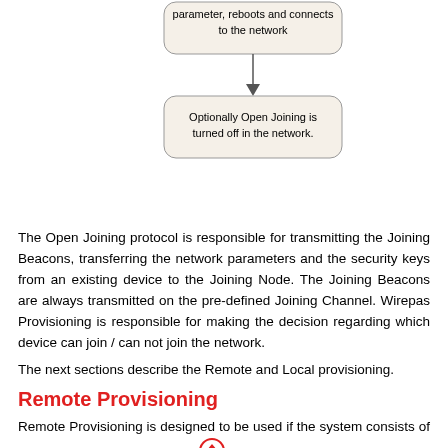[Figure (flowchart): Flowchart showing two steps: top rounded rectangle reads 'parameter, reboots and connects to the network', connected by a downward arrow to another rounded rectangle reading 'Optionally Open Joining is turned off in the network.']
The Open Joining protocol is responsible for transmitting the Joining Beacons, transferring the network parameters and the security keys from an existing device to the Joining Node. The Joining Beacons are always transmitted on the pre-defined Joining Channel. Wirepas Provisioning is responsible for making the decision regarding which device can join / can not join the network.
The next sections describe the Remote and Local provisioning.
Remote Provisioning
Remote Provisioning is designed to be used if the system consists of devices from multiple vendors. With Remote Provisioning, it can be verified one-by-one, which nodes are allowed to join the network.